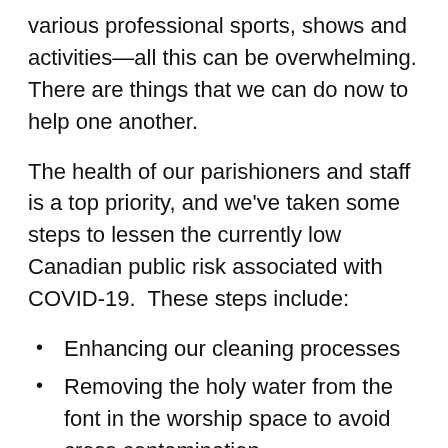various professional sports, shows and activities—all this can be overwhelming. There are things that we can do now to help one another.
The health of our parishioners and staff is a top priority, and we've taken some steps to lessen the currently low Canadian public risk associated with COVID-19. These steps include:
Enhancing our cleaning processes
Removing the holy water from the font in the worship space to avoid cross contamination
Not offering the Precious Blood at Masses